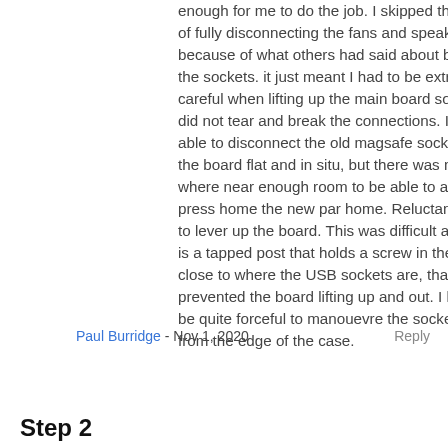enough for me to do the job. I skipped the steps of fully disconnecting the fans and speakers because of what others had said about breaking the sockets. it just meant I had to be extremely careful when lifting up the main board so that I did not tear and break the connections. I was able to disconnect the old magsafe socket with the board flat and in situ, but there was no where near enough room to be able to aline and press home the new par home. Reluctantly i had to lever up the board. This was difficult as there is a tapped post that holds a screw in the way close to where the USB sockets are, that prevented the board lifting up and out. I had to be quite forceful to manouevre the sockets out from the edge of the case.
Paul Burridge - Nov 1, 2020
Reply
Step 2